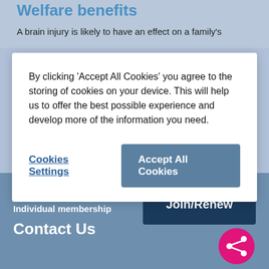Welfare benefits
A brain injury is likely to have an effect on a family's
By clicking 'Accept All Cookies' you agree to the storing of cookies on your device. This will help us to offer the best possible experience and develop more of the information you need.
Cookies Settings
Accept All Cookies
[Figure (other): Pink circular share button with share icon]
Friends of Headway
Individual membership
Join/Renew
Contact Us